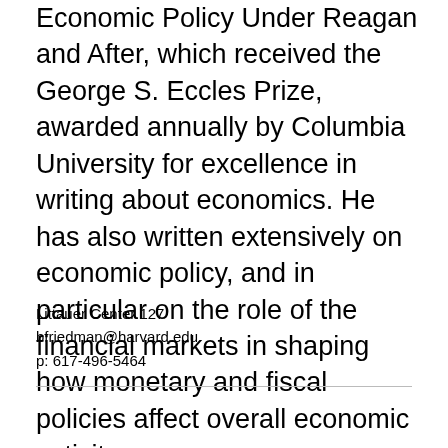Economic Policy Under Reagan and After, which received the George S. Eccles Prize, awarded annually by Columbia University for excellence in writing about economics. He has also written extensively on economic policy, and in particular on the role of the financial markets in shaping how monetary and fiscal policies affect overall economic activity....
Read more
Littauer Center 127
bfriedman@harvard.edu
p: 617-496-5464
[Figure (photo): Black and white headshot photo of Roland Fryer, partially visible at bottom of page]
Roland Fryer
Professor of Economics